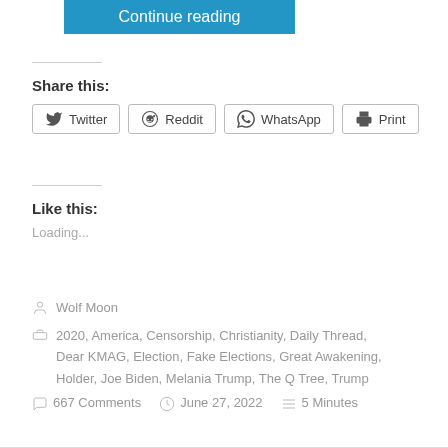Continue reading
Share this:
Twitter  Reddit  WhatsApp  Print
Like this:
Loading...
Wolf Moon
2020, America, Censorship, Christianity, Daily Thread, Dear KMAG, Election, Fake Elections, Great Awakening, Holder, Joe Biden, Melania Trump, The Q Tree, Trump
667 Comments   June 27, 2022   5 Minutes